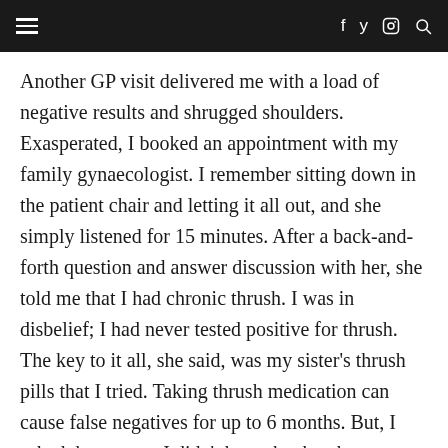≡  f  twitter  instagram  search
Another GP visit delivered me with a load of negative results and shrugged shoulders. Exasperated, I booked an appointment with my family gynaecologist. I remember sitting down in the patient chair and letting it all out, and she simply listened for 15 minutes. After a back-and-forth question and answer discussion with her, she told me that I had chronic thrush. I was in disbelief; I had never tested positive for thrush. The key to it all, she said, was my sister's thrush pills that I tried. Taking thrush medication can cause false negatives for up to 6 months. But, I asked, how come I didn't have the thrush symptoms I read on the Internet, like itchiness and discharge? She explained that chronic thrush can manifest differently to thrush and not a lot of research has been done on it.
As she wrote up my script, she handed me a double-sided form. It